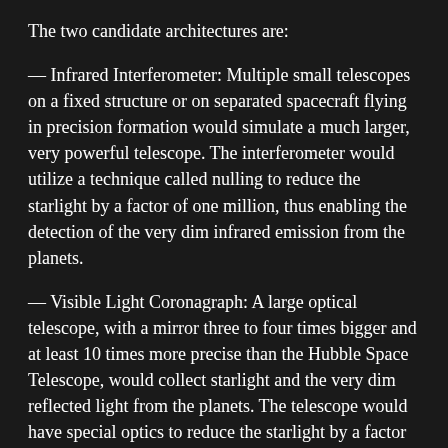The two candidate architectures are:
— Infrared Interferometer: Multiple small telescopes on a fixed structure or on separated spacecraft flying in precision formation would simulate a much larger, very powerful telescope. The interferometer would utilize a technique called nulling to reduce the starlight by a factor of one million, thus enabling the detection of the very dim infrared emission from the planets.
— Visible Light Coronagraph: A large optical telescope, with a mirror three to four times bigger and at least 10 times more precise than the Hubble Space Telescope, would collect starlight and the very dim reflected light from the planets. The telescope would have special optics to reduce the starlight by a factor of one billion, thus enabling astronomers to detect the faint planets.